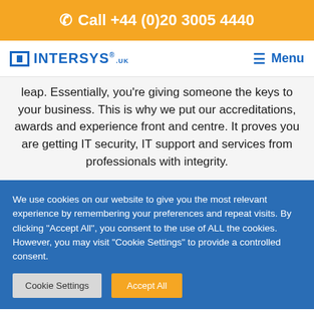Call +44 (0)20 3005 4440
[Figure (logo): Intersys.uk logo with blue square icon and blue text, plus Menu hamburger icon]
leap. Essentially, you're giving someone the keys to your business. This is why we put our accreditations, awards and experience front and centre. It proves you are getting IT security, IT support and services from professionals with integrity.
We use cookies on our website to give you the most relevant experience by remembering your preferences and repeat visits. By clicking "Accept All", you consent to the use of ALL the cookies. However, you may visit "Cookie Settings" to provide a controlled consent.
Cookie Settings | Accept All